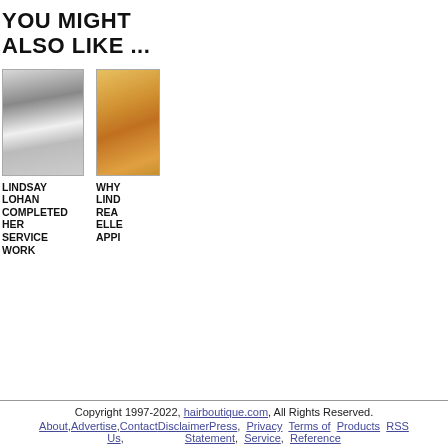YOU MIGHT ALSO LIKE ...
[Figure (photo): Photo of Lindsay Lohan in white outfit walking on street]
LINDSAY LOHAN COMPLETED HER SERVICE WORK
[Figure (photo): Partial photo showing blonde hair and orange/golden tones, likely Lindsay Lohan]
WHY LIND REA ELLE APPI
Copyright 1997-2022, hairboutique.com, All Rights Reserved. About, Advertise, Contact Disclaimer Press, Privacy Statement, Terms of Service, Products, RSS Reference